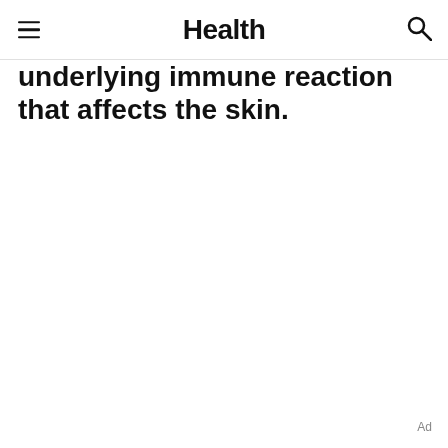Health
underlying immune reaction that affects the skin.
Ad